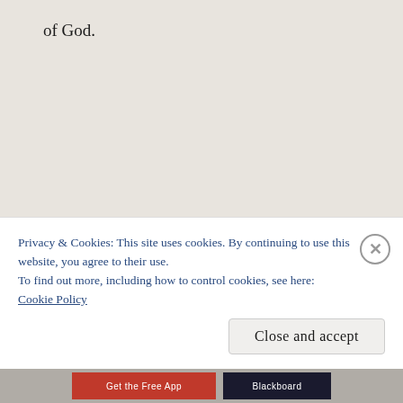of God.
Restricting religious, philosophical, artistic, or intellectual speech is inherently a slippery slope.  There is no way to do it safely.  Today Islamic radicals may riot over ridicule
Privacy & Cookies: This site uses cookies. By continuing to use this website, you agree to their use.
To find out more, including how to control cookies, see here:
Cookie Policy
Close and accept